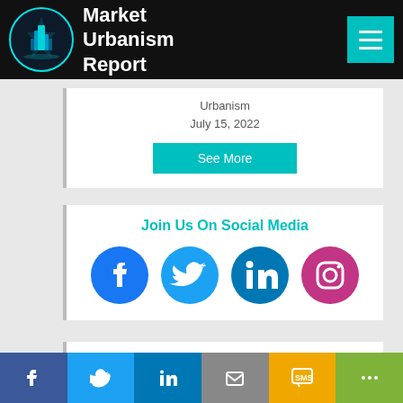Market Urbanism Report
Urbanism
July 15, 2022
See More
Join Us On Social Media
[Figure (illustration): Social media icons: Facebook, Twitter, LinkedIn, Instagram]
Buy the book on Market Urbanism
Social share bar: Facebook, Twitter, LinkedIn, Email, SMS, Share